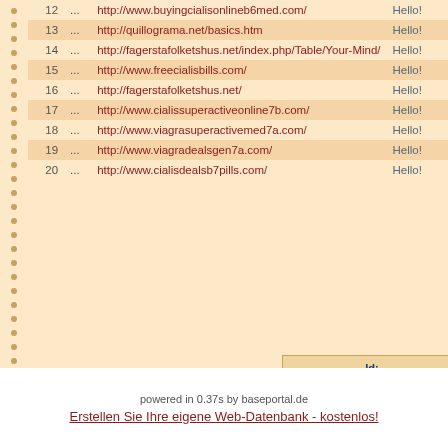|  |  | URL | Title |
| --- | --- | --- | --- |
| 12 | ... | http://www.buyingcialisonlineb6med.com/ | Hello! |
| 13 | ... | http://quillograma.net/basics.htm | Hello! |
| 14 | ... | http://fagerstafolketshus.net/index.php/Table/Your-Mind/ | Hello! |
| 15 | ... | http://www.freecialisbills.com/ | Hello! |
| 16 | ... | http://fagerstafolketshus.net/ | Hello! |
| 17 | ... | http://www.cialissuperactiveonline7b.com/ | Hello! |
| 18 | ... | http://www.viagrasuperactivemed7a.com/ | Hello! |
| 19 | ... | http://www.viagradealsgen7a.com/ | Hello! |
| 20 | ... | http://www.cialisdealsb7pills.com/ | Hello! |
| Field |  |
| --- | --- |
| Id: |  |
| Titel: |  |
| Link Ihrer Arbeit |  |
| Text: |  |
| Autor: |  |
| Emailadresse: |  |
| Link zu Ihrem Insti |  |
| Hidden: |  |
powered in 0.37s by baseportal.de
Erstellen Sie Ihre eigene Web-Datenbank - kostenlos!